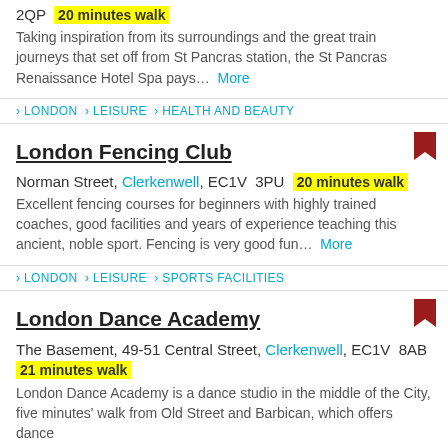2QP  20 minutes walk
Taking inspiration from its surroundings and the great train journeys that set off from St Pancras station, the St Pancras Renaissance Hotel Spa pays...  More
LONDON > LEISURE > HEALTH AND BEAUTY
London Fencing Club
Norman Street, Clerkenwell, EC1V  3PU  20 minutes walk
Excellent fencing courses for beginners with highly trained coaches, good facilities and years of experience teaching this ancient, noble sport. Fencing is very good fun...  More
LONDON > LEISURE > SPORTS FACILITIES
London Dance Academy
The Basement, 49-51 Central Street, Clerkenwell, EC1V  8AB
21 minutes walk
London Dance Academy is a dance studio in the middle of the City, five minutes' walk from Old Street and Barbican, which offers dance